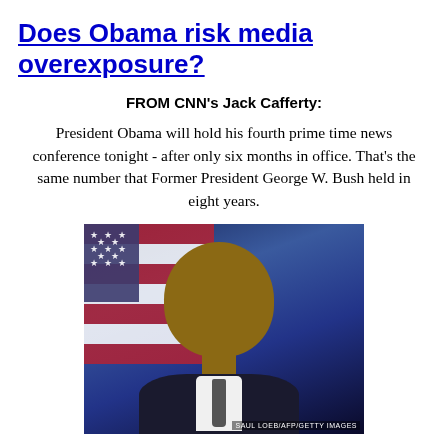Does Obama risk media overexposure?
FROM CNN's Jack Cafferty:
President Obama will hold his fourth prime time news conference tonight - after only six months in office. That's the same number that Former President George W. Bush held in eight years.
[Figure (photo): Photo of President Obama smiling, wearing a dark suit with a grey tie, in front of an American flag. Photo credit: SAUL LOEB/AFP/GETTY IMAGES]
As the president takes his pitch for health care reform directly to the American people - much like he did for the economic stimulus